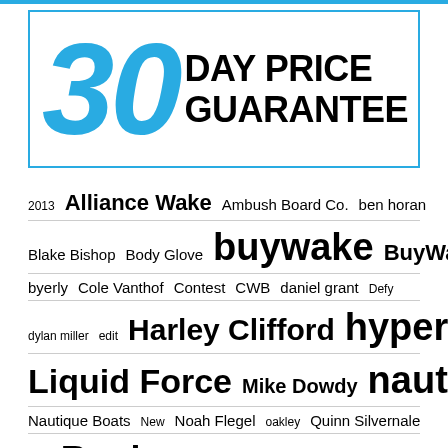[Figure (logo): 30 Day Price Guarantee badge with large blue brush-stroke '30' and bold black text 'DAY PRICE GUARANTEE' inside a blue-bordered rectangle]
2013  Alliance Wake  Ambush Board Co.  ben horan  Blake Bishop  Body Glove  buywake  BuyWake.com  byerly  Cole Vanthof  Contest  CWB  daniel grant  Defy  dylan miller  edit  Harley Clifford  hyperlite  Liquid Force  Mike Dowdy  nautique  Nautique Boats  New  Noah Flegel  oakley  Quinn Silvernale  Ronix  ...